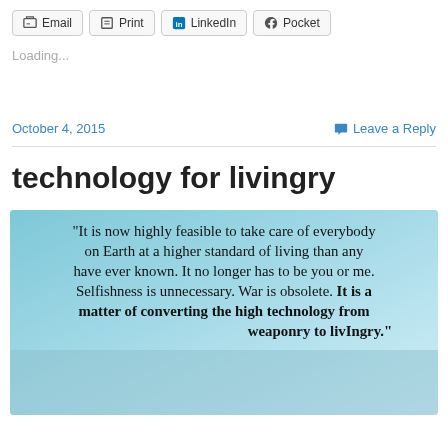Email  Print  LinkedIn  Pocket
Loading...
October 4, 2015    Leave a Reply
technology for livingry
[Figure (illustration): Quote image with light blue/teal gradient background containing text: "It is now highly feasible to take care of everybody on Earth at a higher standard of living than any have ever known. It no longer has to be you or me. Selfishness is unnecessary. War is obsolete. It is a matter of converting the high technology from weaponry to livIngry." - R. Buckminster Fuller (partially visible)]